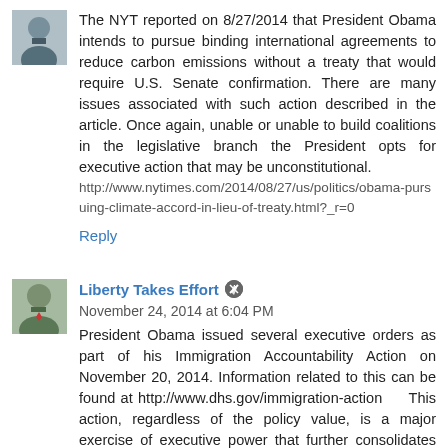[Figure (photo): Avatar photo of commenter (man in suit)]
The NYT reported on 8/27/2014 that President Obama intends to pursue binding international agreements to reduce carbon emissions without a treaty that would require U.S. Senate confirmation. There are many issues associated with such action described in the article. Once again, unable or unable to build coalitions in the legislative branch the President opts for executive action that may be unconstitutional.
http://www.nytimes.com/2014/08/27/us/politics/obama-pursuing-climate-accord-in-lieu-of-treaty.html?_r=0
Reply
Liberty Takes Effort  November 24, 2014 at 6:04 PM
[Figure (photo): Avatar photo of Liberty Takes Effort commenter (older man)]
President Obama issued several executive orders as part of his Immigration Accountability Action on November 20, 2014. Information related to this can be found at http://www.dhs.gov/immigration-action   This action, regardless of the policy value, is a major exercise of executive power that further consolidates power in the executive branch. As stated in this blog post and others this